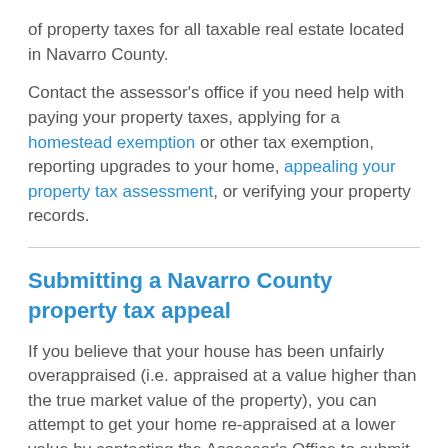of property taxes for all taxable real estate located in Navarro County.
Contact the assessor's office if you need help with paying your property taxes, applying for a homestead exemption or other tax exemption, reporting upgrades to your home, appealing your property tax assessment, or verifying your property records.
Submitting a Navarro County property tax appeal
If you believe that your house has been unfairly overappraised (i.e. appraised at a value higher than the true market value of the property), you can attempt to get your home re-appraised at a lower value by contacting the Assessor's Office to submit a property tax appeal.
You will have to submit a form describing your property and sufficient proof that it is